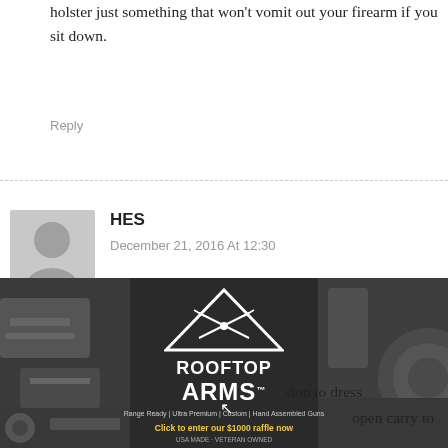holster just something that won't vomit out your firearm if you sit down.
Reply
HES
December 21, 2016 At 12:30
I live in Florida and eagerly await the passage of the open carry bill. As to the question of woukd I open carry, probably not. Why? Florida when it comes to clothing is pretty darn casual. No one tucks their shirts in down here unless you're wearing business casual or a suit. So in that case it really doesn't make sense to open carry. However were fashion trends to change or i have occasion to dress [more formally, I'd open carry to
[Figure (advertisement): Rooftop Arms advertisement with dark background, triangle logo with crossed rifles, brand name text, tagline and raffle CTA]